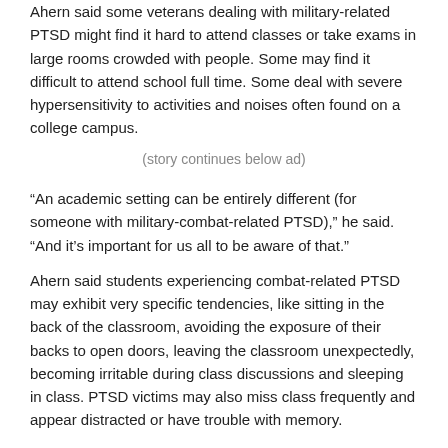Ahern said some veterans dealing with military-related PTSD might find it hard to attend classes or take exams in large rooms crowded with people. Some may find it difficult to attend school full time. Some deal with severe hypersensitivity to activities and noises often found on a college campus.
(story continues below ad)
“An academic setting can be entirely different (for someone with military-combat-related PTSD),” he said. “And it’s important for us all to be aware of that.”
Ahern said students experiencing combat-related PTSD may exhibit very specific tendencies, like sitting in the back of the classroom, avoiding the exposure of their backs to open doors, leaving the classroom unexpectedly, becoming irritable during class discussions and sleeping in class. PTSD victims may also miss class frequently and appear distracted or have trouble with memory.
“I want to caution (people) not to take this and say ‘now I can diagnose PTSD.’” Ahern said. “These are just things that can help